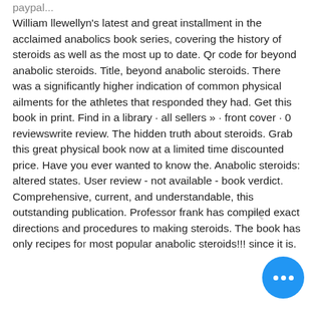paypal... William llewellyn's latest and great installment in the acclaimed anabolics book series, covering the history of steroids as well as the most up to date. Qr code for beyond anabolic steroids. Title, beyond anabolic steroids. There was a significantly higher indication of common physical ailments for the athletes that responded they had. Get this book in print. Find in a library · all sellers » · front cover · 0 reviewswrite review. The hidden truth about steroids. Grab this great physical book now at a limited time discounted price. Have you ever wanted to know the. Anabolic steroids: altered states. User review - not available - book verdict. Comprehensive, current, and understandable, this outstanding publication. Professor frank has compiled exact directions and procedures to making steroids. The book has only recipes for most popular anabolic steroids!!! since it is.